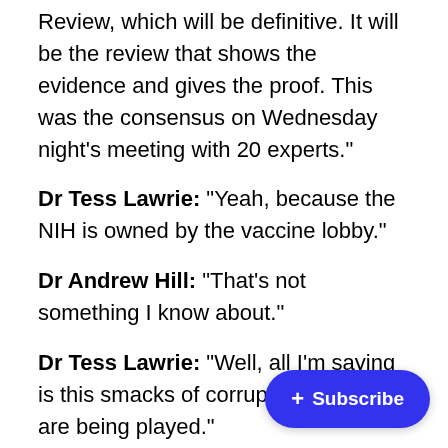Review, which will be definitive. It will be the review that shows the evidence and gives the proof. This was the consensus on Wednesday night's meeting with 20 experts."
Dr Tess Lawrie: "Yeah, because the NIH is owned by the vaccine lobby."
Dr Andrew Hill: "That's not something I know about."
Dr Tess Lawrie: "Well, all I'm saying is this smacks of corruption and you are being played."
Dr Andrew Hill: "I don't think so."
Dr Tess Lawrie: "Well then, you have no excuse because your work in that review is [obscured]. It is not properly put together....This [obscured] bad research. So, at this point, I don't know... you